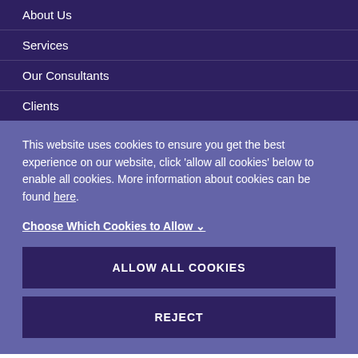About Us
Services
Our Consultants
Clients
This website uses cookies to ensure you get the best experience on our website, click 'allow all cookies' below to enable all cookies. More information about cookies can be found here.
Choose Which Cookies to Allow ∨
ALLOW ALL COOKIES
REJECT